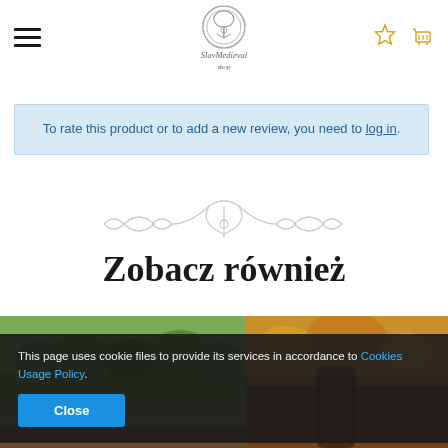SlavMedieval shop
To rate this product or to add a new review, you need to log in.
[Figure (illustration): Decorative ornamental divider with scrollwork]
Zobacz również
[Figure (photo): Two product photos side by side: left shows outdoor forest/nature scene, right shows autumn foliage scene]
This page uses cookie files to provide its services in accordance to Cookies Usage Policy.